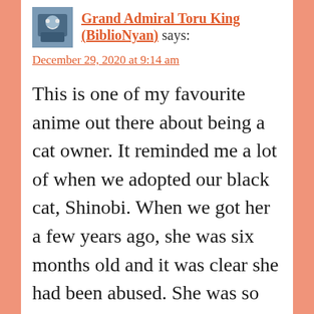Grand Admiral Toru King (BiblioNyan) says:
December 29, 2020 at 9:14 am
This is one of my favourite anime out there about being a cat owner. It reminded me a lot of when we adopted our black cat, Shinobi. When we got her a few years ago, she was six months old and it was clear she had been abused. She was so wary of humans. It took her